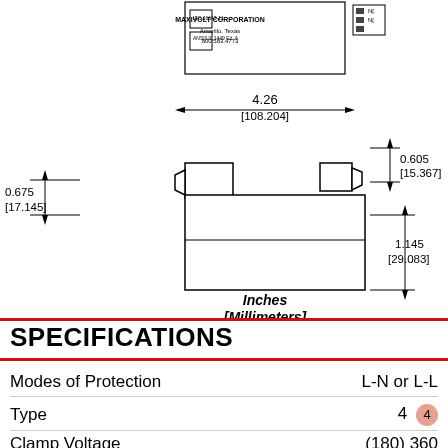[Figure (engineering-diagram): Technical dimensional drawing of MAXIVOLT CORPORATION surge protector device showing top and side profile views with measurements: 4.26 inches [108.204 mm] width, 0.675 inches [17.145 mm] height on left, 0.605 inches [15.367 mm] on right upper, 1.145 inches [29.083 mm] on right lower. Label reads Inches [Millimeters].]
SPECIFICATIONS
|  |  |
| --- | --- |
| Modes of Protection | L-N or L-L |
| Type | 4 (4) |
| Clamp Voltage | (180) 360 |